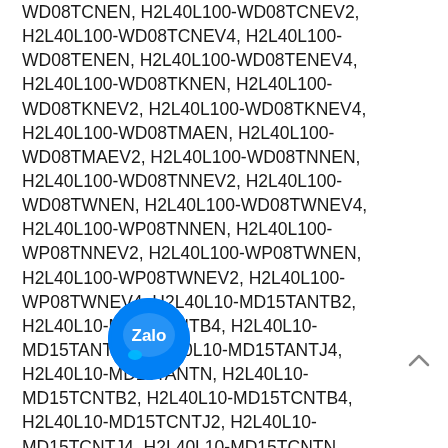WD08TCNEN, H2L40L100-WD08TCNEV2, H2L40L100-WD08TCNEV4, H2L40L100-WD08TENEN, H2L40L100-WD08TENEV4, H2L40L100-WD08TKNEN, H2L40L100-WD08TKNEV2, H2L40L100-WD08TKNEV4, H2L40L100-WD08TMAEN, H2L40L100-WD08TMAEV2, H2L40L100-WD08TNNEN, H2L40L100-WD08TNNEV2, H2L40L100-WD08TWNEN, H2L40L100-WD08TWNEV4, H2L40L100-WP08TNNEN, H2L40L100-WP08TNNEV2, H2L40L100-WP08TWNEN, H2L40L100-WP08TWNEV2, H2L40L100-WP08TWNEV4, H2L40L10-MD15TANTB2, H2L40L10-MD15TANTB4, H2L40L10-MD15TANTJ2, H2L40L10-MD15TANTJ4, H2L40L10-MD15TANTN, H2L40L10-MD15TCNTB2, H2L40L10-MD15TCNTB4, H2L40L10-MD15TCNTJ2, H2L40L10-MD15TCNTJ4, H2L40L10-MD15TCNTN, H2L40L10-MD15TENTB4, H2L40L10-MD15TENTJ4, H2L40L10-MD15TENTN, H2L40L10-MD15TKNTB2, H2L40L10-MD15TKNTB4, H2L40L10-MD15TKNTJ2, H2L40L10-MD15TKNTJ4, H2L40L10-MD15TKNTN, H2L40L10-MD15TMATB2, H2L40L10-
[Figure (logo): Zalo app icon badge - circular blue button with 'Zalo' text and chat bubble graphic]